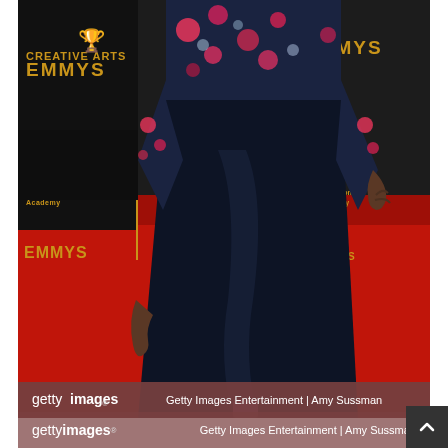[Figure (photo): A person wearing a dark navy/black floor-length gown with a floral patterned blouse/top with pink and red flowers, standing on a red carpet at an Emmy Awards event. The background shows the dark Emmy Awards step-and-repeat banner with gold 'EMMYS' text and Television Academy logos. Only the torso and lower body of the person is visible.]
gettyimages   Getty Images Entertainment | Amy Sussman